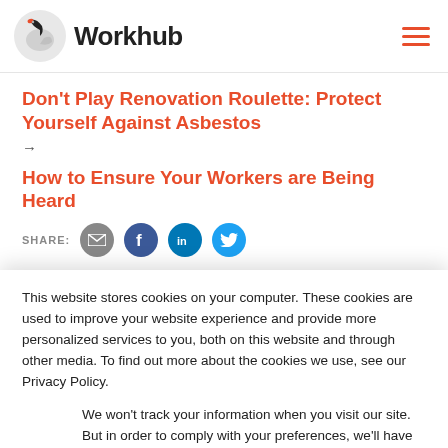[Figure (logo): Workhub logo with black swan/bird icon and bold text 'Workhub']
Don't Play Renovation Roulette: Protect Yourself Against Asbestos
→
How to Ensure Your Workers are Being Heard
SHARE:
This website stores cookies on your computer. These cookies are used to improve your website experience and provide more personalized services to you, both on this website and through other media. To find out more about the cookies we use, see our Privacy Policy.
We won't track your information when you visit our site. But in order to comply with your preferences, we'll have to use just one tiny cookie so that you're not asked to make this choice again.